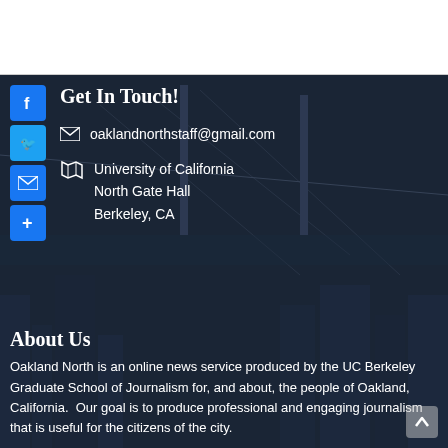Get In Touch!
oaklandnorthstaff@gmail.com
University of California
North Gate Hall
Berkeley, CA
About Us
Oakland North is an online news service produced by the UC Berkeley Graduate School of Journalism for, and about, the people of Oakland, California.  Our goal is to produce professional and engaging journalism that is useful for the citizens of the city.